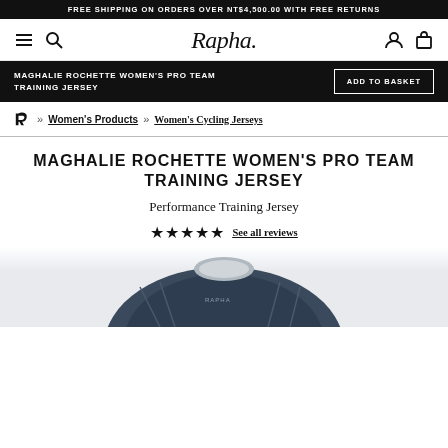FREE SHIPPING ON ORDERS OVER NT$4,500.00 WITH FREE RETURNS
[Figure (screenshot): Rapha website navigation bar with hamburger menu, search icon, Rapha logo (italic script), user account icon, and shopping basket icon]
MAGHALIE ROCHETTE WOMEN'S PRO TEAM TRAINING JERSEY
ADD TO BASKET
» Women's Products » Women's Cycling Jerseys
MAGHALIE ROCHETTE WOMEN'S PRO TEAM TRAINING JERSEY
Performance Training Jersey
★★★★★ See all reviews
[Figure (photo): Bottom portion of a dark navy/blue cycling jersey with Rapha branding visible at the collar area]